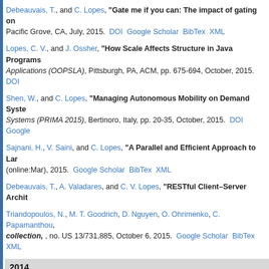Debeauvais, T., and C. Lopes, "Gate me if you can: The impact of gating on Pacific Grove, CA, July, 2015. DOI Google Scholar BibTex XML
Lopes, C. V., and J. Ossher, "How Scale Affects Structure in Java Programs", Applications (OOPSLA), Pittsburgh, PA, ACM, pp. 675-694, October, 2015. DOI
Shen, W., and C. Lopes, "Managing Autonomous Mobility on Demand Syste Systems (PRIMA 2015), Bertinoro, Italy, pp. 20-35, October, 2015. DOI Google
Sajnani, H., V. Saini, and C. Lopes, "A Parallel and Efficient Approach to Lar (online:Mar), 2015. Google Scholar BibTex XML
Debeauvais, T., A. Valadares, and C. V. Lopes, "RESTful Client-Server Archit
Triandopoulos, N., M. T. Goodrich, D. Nguyen, O. Ohrimenko, C. Papamanthou, collection, , no. US 13/731,885, October 6, 2015. Google Scholar BibTex XML
2014
Hondori, H. M., M. Khademi, A. McKenzie, L. Dodakian, C. V. Lopes, and S. C. Rehabilitation (poster abstract)", Stroke, vol. 45, no. Suppl 1, San Diego, CA,
Sajnani, H., V. Saini, and C. Videira Lopes, "A Comparative Study of Bug Patt Code Analysis and Manipulation (SCAM), Victoria, BC, Canada, pp. 21-30, Sep
Khademi, M., H. Mousavi Hondori, A. McKenzie, L. Dodakian, C V. Lopes, and S Conference on Human Factors in Computing Systems (CHI 2014). Extended ab